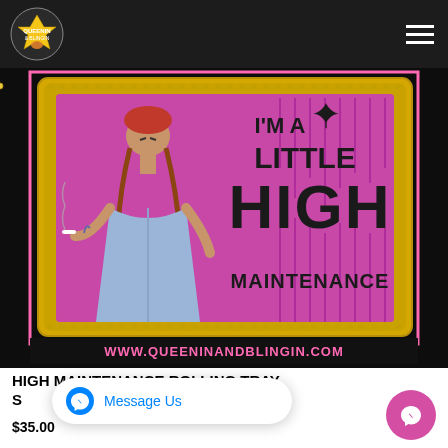[Figure (screenshot): E-commerce website screenshot showing a decorative rolling tray product with a pink background. The tray features an illustration of a woman smoking with text 'I'M A LITTLE HIGH MAINTENANCE' and a cannabis leaf. Website URL shown: WWW.QUEENINANDBLINGIN.COM]
HIGH MAINTENANCE ROLLING TRAY S...
$35.00
[Figure (screenshot): Facebook Messenger 'Message Us' popup button overlay]
[Figure (screenshot): Facebook Messenger FAB (floating action button) in pink]